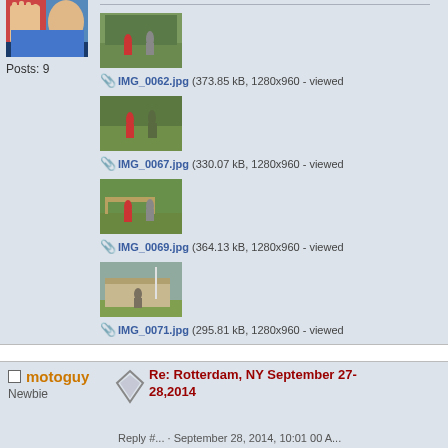[Figure (photo): Avatar image of a person in a blue shirt raising hand, on a red background]
Posts: 9
[Figure (photo): IMG_0062.jpg - outdoor scene with people (373.85 kB, 1280x960)]
IMG_0062.jpg (373.85 kB, 1280x960 - viewed
[Figure (photo): IMG_0067.jpg - outdoor scene with people (330.07 kB, 1280x960)]
IMG_0067.jpg (330.07 kB, 1280x960 - viewed
[Figure (photo): IMG_0069.jpg - outdoor scene (364.13 kB, 1280x960)]
IMG_0069.jpg (364.13 kB, 1280x960 - viewed
[Figure (photo): IMG_0071.jpg - outdoor building scene (295.81 kB, 1280x960)]
IMG_0071.jpg (295.81 kB, 1280x960 - viewed
motoguy
Newbie
Re: Rotterdam, NY September 27-28,2014